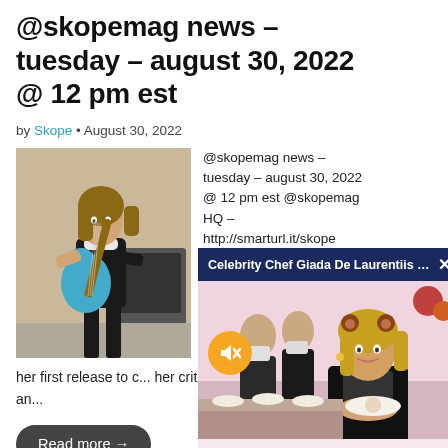@skopemag news – tuesday – august 30, 2022 @ 12 pm est
by Skope • August 30, 2022
[Figure (photo): Woman standing holding a blue electric guitar, wearing a black top, with music equipment in the background]
@skopemag news – tuesday – august 30, 2022 @ 12 pm est @skopemag HQ – http://smarturl.it/skope JESSIE REYEZ ANNOUNCES NORTH AMERICAN TOUR;
her first release to c... her critically heralde... Us landed, Jessie an...
Read more →
[Figure (screenshot): Ad overlay showing Celebrity Chef Giada De Laurentiis with a navy blue title bar, a mute/speaker icon, and a photo of a smiling woman in a black outfit at a catering event]